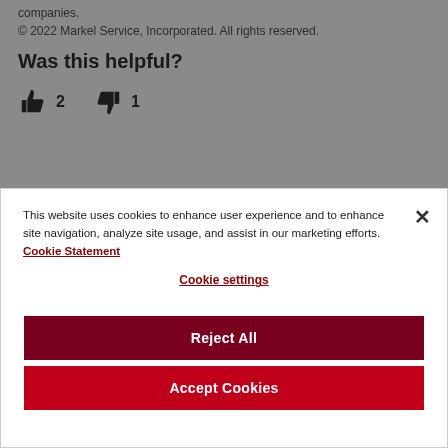companies.
© 2022 Markel Service, Incorporated.  All rights reserved.
Was this helpful?
[Figure (infographic): Thumbs up icon with count 2 and thumbs down icon with count 1]
This website uses cookies to enhance user experience and to enhance site navigation, analyze site usage, and assist in our marketing efforts.  Cookie Statement
Cookie settings
Reject All
Accept Cookies